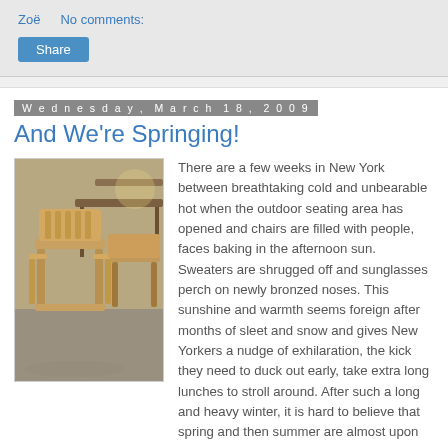Zoë    No comments:
Share
Wednesday, March 18, 2009
And We're Springing!
[Figure (photo): Outdoor cafe chairs and tables stacked or arranged in sunlight, wicker/rattan chairs visible.]
There are a few weeks in New York between breathtaking cold and unbearable hot when the outdoor seating area has opened and chairs are filled with people, faces baking in the afternoon sun. Sweaters are shrugged off and sunglasses perch on newly bronzed noses. This sunshine and warmth seems foreign after months of sleet and snow and gives New Yorkers a nudge of exhilaration, the kick they need to duck out early, take extra long lunches to stroll around. After such a long and heavy winter, it is hard to believe that spring and then summer are almost upon us, but